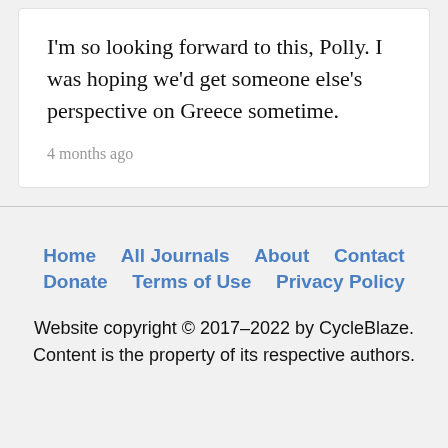I'm so looking forward to this, Polly. I was hoping we'd get someone else's perspective on Greece sometime.
4 months ago
Home   All Journals   About   Contact   Donate   Terms of Use   Privacy Policy

Website copyright © 2017–2022 by CycleBlaze. Content is the property of its respective authors.